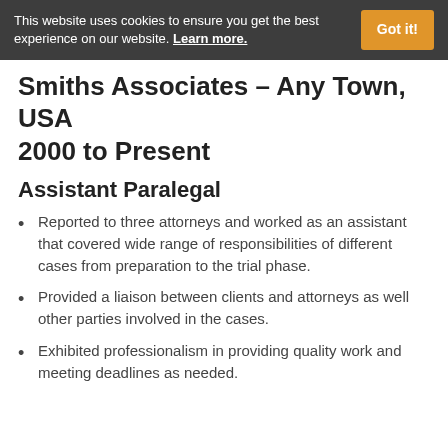This website uses cookies to ensure you get the best experience on our website. Learn more.
Smiths Associates – Any Town, USA 2000 to Present
Assistant Paralegal
Reported to three attorneys and worked as an assistant that covered wide range of responsibilities of different cases from preparation to the trial phase.
Provided a liaison between clients and attorneys as well other parties involved in the cases.
Exhibited professionalism in providing quality work and meeting deadlines as needed.